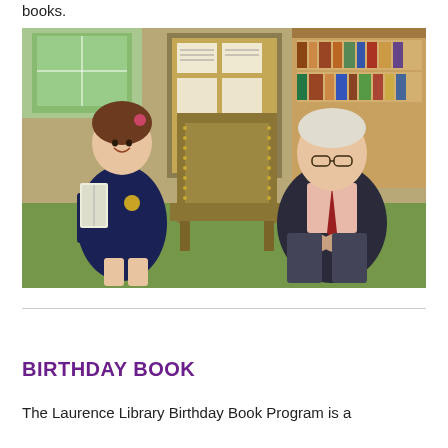books.
[Figure (photo): A young girl in a navy dress holding books stands beside an elderly man in a dark suit with a red tie, both seated/standing near a large ornate chair in a library setting with bookshelves visible in the background.]
BIRTHDAY BOOK
The Laurence Library Birthday Book Program is a